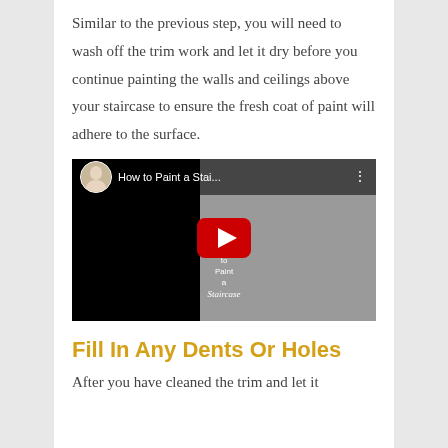Similar to the previous step, you will need to wash off the trim work and let it dry before you continue painting the walls and ceilings above your staircase to ensure the fresh coat of paint will adhere to the surface.
[Figure (screenshot): YouTube video thumbnail showing 'How to Paint a Stai...' with a woman's avatar, a red YouTube play button, and partial staircase painting imagery.]
Fill In Any Dents Or Holes
After you have cleaned the trim and let it